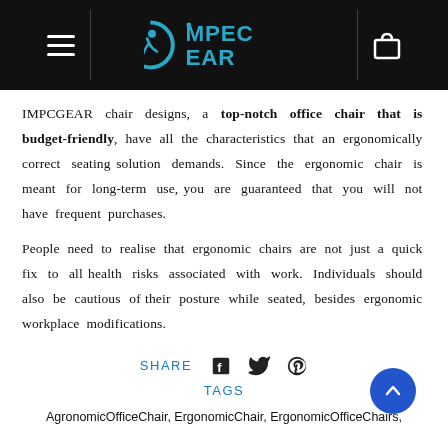[Figure (logo): IMPCGEAR logo with circular arrow icon and teal text on black header bar]
IMPCGEAR chair designs, a top-notch office chair that is budget-friendly, have all the characteristics that an ergonomically correct seating solution demands. Since the ergonomic chair is meant for long-term use, you are guaranteed that you will not have frequent purchases.
People need to realise that ergonomic chairs are not just a quick fix to all health risks associated with work. Individuals should also be cautious of their posture while seated, besides ergonomic workplace modifications.
SHARE
TAGS
AgronomicOfficeChair, ErgonomicChair, ErgonomicOfficeChairs,